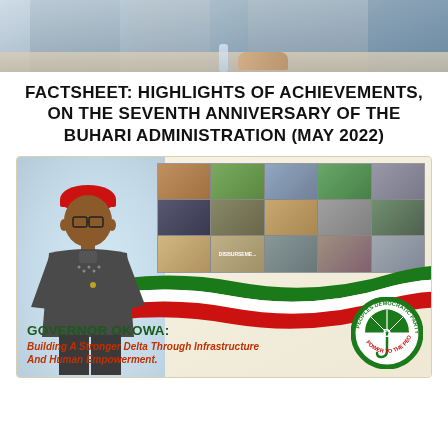[Figure (photo): Top banner photo showing officials seated at a table, blurred/cropped]
FACTSHEET: HIGHLIGHTS OF ACHIEVEMENTS, ON THE SEVENTH ANNIVERSARY OF THE BUHARI ADMINISTRATION (MAY 2022)
[Figure (infographic): Campaign-style banner for Governor Okowa featuring his photo, a grid of project photos, PDP ribbon design, PDP logo, and text: GOVERNOR OKOWA: Building A Stronger Delta Through Infrastructure And Human Empowerment.]